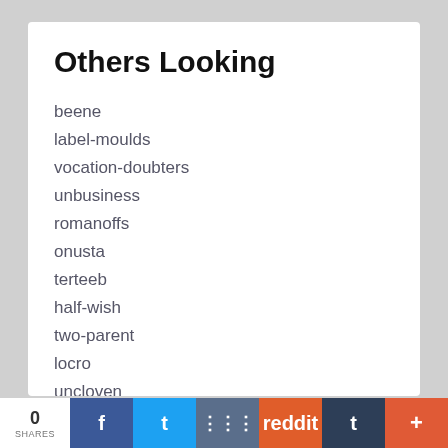Others Looking
beene
label-moulds
vocation-doubters
unbusiness
romanoffs
onusta
terteeb
half-wish
two-parent
locro
uncloven
over-idealised
coquetterie